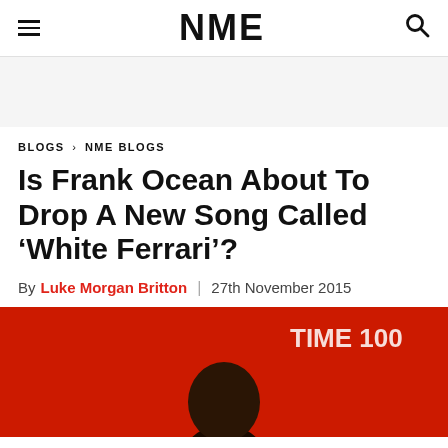NME
BLOGS › NME BLOGS
Is Frank Ocean About To Drop A New Song Called ‘White Ferrari’?
By Luke Morgan Britton | 27th November 2015
[Figure (photo): Photo of Frank Ocean at TIME 100 event, red background with partial TIME 100 text visible]